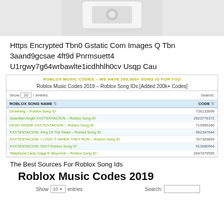[Figure (photo): Partial image of a white device (likely a printer or gaming console) on a grey background, cropped at top]
Https Encrypted Tbn0 Gstatic Com Images Q Tbn 3aand9gcsae 4ft9d Pnrmsuett4 U1rgwy7g64wrbawlte1icdhhlh0cv Usqp Cau
[Figure (screenshot): Screenshot of Roblox Music Codes website showing a table of song names and their Roblox Song IDs. Banner reads: ROBLOX MUSIC CODES - WE HAVE 200,000+ SONG ID FOR YOU. Subtitle: Roblox Music Codes 2019 – Roblox Song IDs [Added 200k+ Codes]. Table rows: Drowning – Roblox Song ID: 728133699; Guardian Angel XXXTENTACION – Roblox Song ID: 2823776372; DEAD INSIDE XXXTENTACION – Roblox Song ID: 719985340; XXXTENTACION: King Of The Dead – Roblox Song ID: 562347944; XXXTENTACION: I LOVE IT WHEN THEY RUN – Roblox Song ID: 767303894; XXXTENTACION: RIOT Roblox Song ID: 513080904; Telephone Lady Gaga ft. Beyonce – Roblox Song ID: 2047879585]
The Best Sources For Roblox Song Ids
Roblox Music Codes 2019
| Show | entries | Search: |
| --- | --- | --- |
| 10 |  |  |